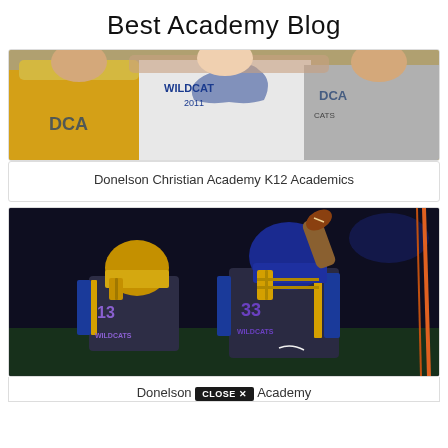Best Academy Blog
[Figure (photo): Three children wearing Wildcat and DCA branded shirts, posing together outdoors]
Donelson Christian Academy K12 Academics
[Figure (photo): Two Wildcats football players in dark blue and gold uniforms, one wearing #33 and one wearing #13, celebrating on the field at night]
Donelson CLOSE X Academy